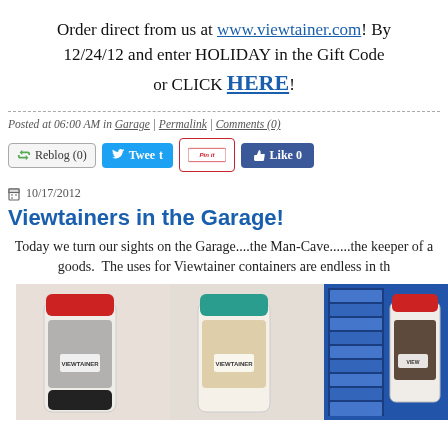Order direct from us at www.viewtainer.com! By 12/24/12 and enter HOLIDAY in the Gift Code box or CLICK HERE!
Posted at 06:00 AM in Garage | Permalink | Comments (0)
[Figure (screenshot): Social sharing buttons: Reblog (0), Tweet, Pin it, Like 0]
10/17/2012
Viewtainers in the Garage!
Today we turn our sights on the Garage....the Man-Cave......the keeper of all goods. The uses for Viewtainer containers are endless in th
[Figure (photo): Three Viewtainer containers holding screws and hardware, with a rack of storage drawers in the background]